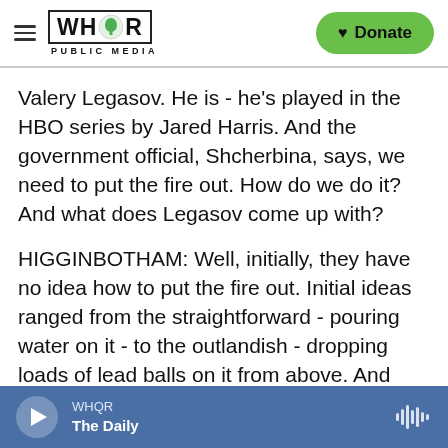WHQR PUBLIC MEDIA | Donate
Valery Legasov. He is - he's played in the HBO series by Jared Harris. And the government official, Shcherbina, says, we need to put the fire out. How do we do it? And what does Legasov come up with?
HIGGINBOTHAM: Well, initially, they have no idea how to put the fire out. Initial ideas ranged from the straightforward - pouring water on it - to the outlandish - dropping loads of lead balls on it from above. And Legasov and the other scientists involved eventually decided that the best thing they could do, because they couldn't get close to it to
WHQR | The Daily